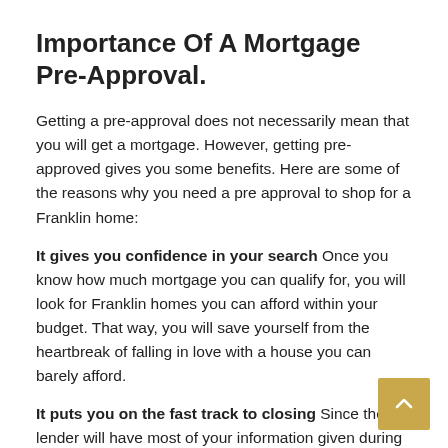Importance Of A Mortgage Pre-Approval.
Getting a pre-approval does not necessarily mean that you will get a mortgage. However, getting pre-approved gives you some benefits. Here are some of the reasons why you need a pre approval to shop for a Franklin home:
It gives you confidence in your search Once you know how much mortgage you can qualify for, you will look for Franklin homes you can afford within your budget. That way, you will save yourself from the heartbreak of falling in love with a house you can barely afford.
It puts you on the fast track to closing Since the lender will have most of your information given during the pre-approval in their system, it will speed up the loan process once you make an offer.
It establishes your credibility as a homebuyer A